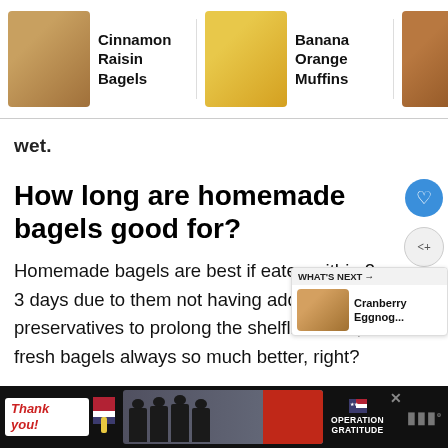Cinnamon Raisin Bagels | Banana Orange Muffins | Cinnamon Swirl Banana Bread
wet.
How long are homemade bagels good for?
Homemade bagels are best if eaten within 2-3 days due to them not having added preservatives to prolong the shelflife. Plus, fresh bagels always so much better, right?
[Figure (other): WHAT'S NEXT arrow callout with thumbnail of Cranberry Eggnog recipe]
[Figure (other): Operation Gratitude advertisement banner with firefighters photo, thank you text, and flag logo]